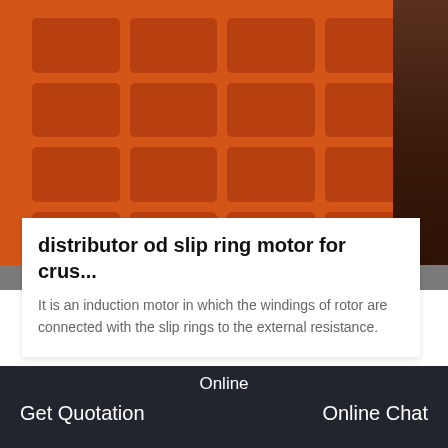[Figure (photo): Close-up photo of large orange industrial equipment (jaw crusher or similar heavy machinery) with a grid of rectangular recessed panels, set in a warehouse/factory floor environment with dark equipment visible on the right side.]
distributor od slip ring motor for crus...
It is an induction motor in which the windings of rotor are connected with the slip rings to the external resistance.
[Figure (photo): Photo of industrial machinery showing large flywheels and belt drive components (jaw crusher or similar equipment) in a factory setting, with white and yellow wheel rims, black belts, and white machine body with blue component visible.]
Online
Get Quotation    Online Chat